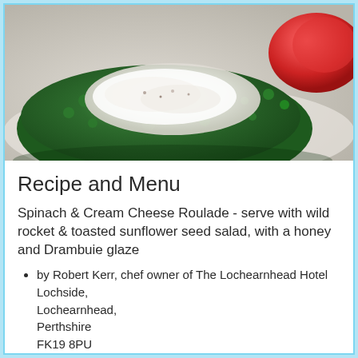[Figure (photo): Close-up photo of a Spinach & Cream Cheese Roulade dish showing green spinach exterior with white cream cheese filling, served with salad and tomatoes in background]
Recipe and Menu
Spinach & Cream Cheese Roulade - serve with wild rocket & toasted sunflower seed salad, with a honey and Drambuie glaze
by Robert Kerr, chef owner of The Lochearnhead Hotel Lochside, Lochearnhead, Perthshire FK19 8PU
t: +44(0)1567 830229
f: +44(0)1567 830364,
email: info@lochearnhead-hotel.com